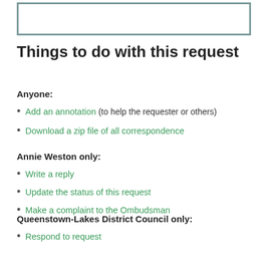[Figure (other): Gray-bordered rectangle box at top of page]
Things to do with this request
Anyone:
Add an annotation (to help the requester or others)
Download a zip file of all correspondence
Annie Weston only:
Write a reply
Update the status of this request
Make a complaint to the Ombudsman
Queenstown-Lakes District Council only:
Respond to request